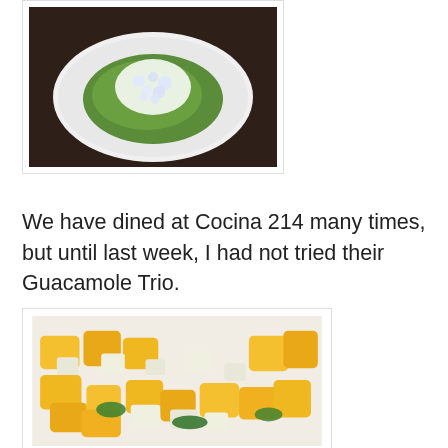[Figure (photo): Photo of a guacamole dish on a white plate, topped with crumbled white cheese, viewed from above]
We have dined at Cocina 214 many times, but until last week, I had not tried their Guacamole Trio.
[Figure (photo): Close-up photo of a mango guacamole dish with diced yellow mango, chopped white onion, and green herbs on a white plate]